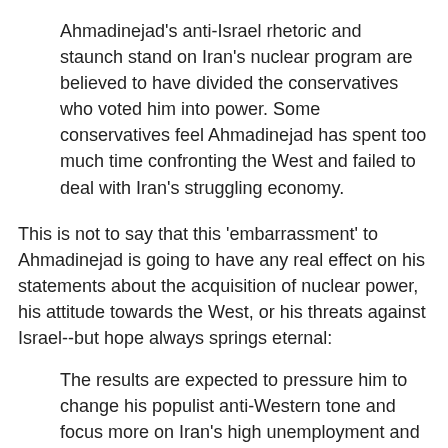Ahmadinejad's anti-Israel rhetoric and staunch stand on Iran's nuclear program are believed to have divided the conservatives who voted him into power. Some conservatives feel Ahmadinejad has spent too much time confronting the West and failed to deal with Iran's struggling economy.
This is not to say that this 'embarrassment' to Ahmadinejad is going to have any real effect on his statements about the acquisition of nuclear power, his attitude towards the West, or his threats against Israel--but hope always springs eternal:
The results are expected to pressure him to change his populist anti-Western tone and focus more on Iran's high unemployment and economic problems at home.
Maybe. But we're still a long way from seeing any real pressure on Ahmadinejad from within the Iranian leadership to change his ways. As the Wall Street Journal more realistically points out, the onus may be on the US: